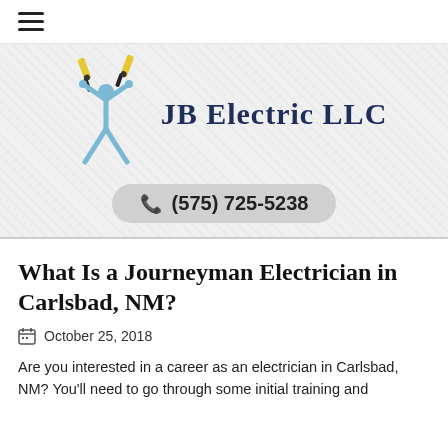☰
[Figure (logo): JB Electric LLC logo: stylized figure holding wire pliers/connectors overhead, with company name 'JB Electric LLC' and phone number (575) 725-5238]
What Is a Journeyman Electrician in Carlsbad, NM?
October 25, 2018
Are you interested in a career as an electrician in Carlsbad, NM? You'll need to go through some initial training and